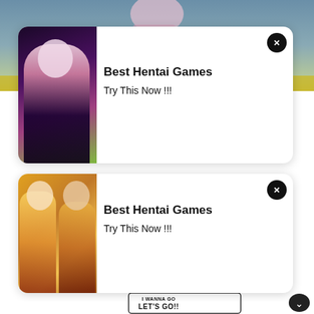[Figure (illustration): Background manga/anime scene at top of page with colored character imagery]
[Figure (illustration): Ad card 1: White rounded card with anime character image on left. Text reads 'Best Hentai Games / Try This Now !!!' with X close button]
Best Hentai Games
Try This Now !!!
[Figure (illustration): Ad card 2: White rounded card with anime bikini characters image on left. Text reads 'Best Hentai Games / Try This Now !!!' with X close button]
Best Hentai Games
Try This Now !!!
[Figure (illustration): Manga speech bubble with text 'I WANNA GO LET'S GO!!' in bold black font, with dotted circle and upward arrow below]